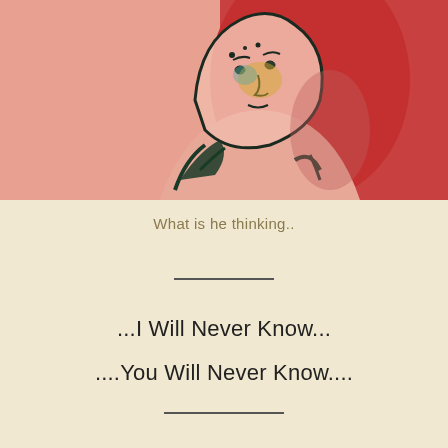[Figure (illustration): A painterly illustration of a person wearing a hood or hat, with a pink and red background. The figure has a stylized face with dark outlines, hints of yellow and teal coloring on the face, and dark teal brushstrokes suggesting a collar or clothing. The background has large red and pink shapes.]
What is he thinking..
...I Will Never Know...
....You Will Never Know....